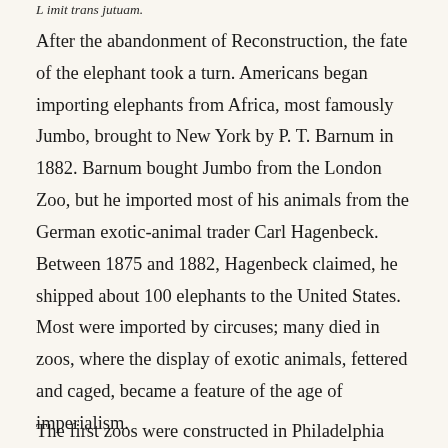L imit trans jutuam.
After the abandonment of Reconstruction, the fate of the elephant took a turn. Americans began importing elephants from Africa, most famously Jumbo, brought to New York by P. T. Barnum in 1882. Barnum bought Jumbo from the London Zoo, but he imported most of his animals from the German exotic-animal trader Carl Hagenbeck. Between 1875 and 1882, Hagenbeck claimed, he shipped about 100 elephants to the United States. Most were imported by circuses; many died in zoos, where the display of exotic animals, fettered and caged, became a feature of the age of imperialism.
The first zoos were constructed in Philadelphia...